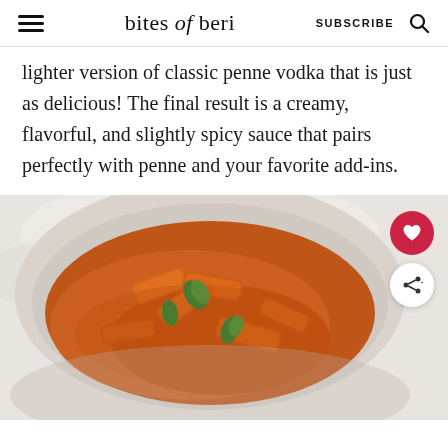bites of beri | SUBSCRIBE
lighter version of classic penne vodka that is just as delicious! The final result is a creamy, flavorful, and slightly spicy sauce that pairs perfectly with penne and your favorite add-ins.
[Figure (photo): A ceramic bowl filled with penne pasta in a creamy orange-red vodka sauce, garnished with fresh basil leaves, photographed from above on a white marble surface.]